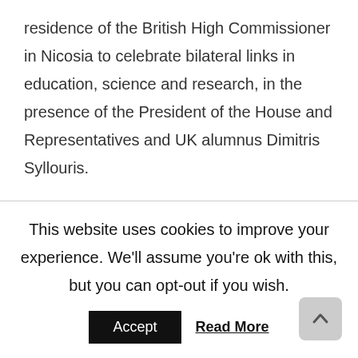residence of the British High Commissioner in Nicosia to celebrate bilateral links in education, science and research, in the presence of the President of the House and Representatives and UK alumnus Dimitris Syllouris.
Over 35 British universities, in Cyprus for the annual Study UK fairs organised by the British Council, also participated, as did 12 Cypriot institutions with major research links with the UK to showcase their work. The event was organised in conjunction with the 17 UK university alumni groups which currently operate in
This website uses cookies to improve your experience. We'll assume you're ok with this, but you can opt-out if you wish.